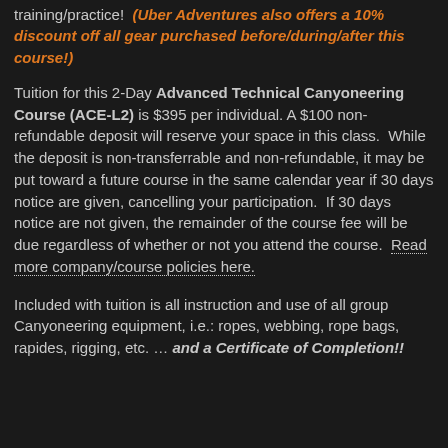training/practice!  (Uber Adventures also offers a 10% discount off all gear purchased before/during/after this course!)
Tuition for this 2-Day Advanced Technical Canyoneering Course (ACE-L2) is $395 per individual. A $100 non-refundable deposit will reserve your space in this class.  While the deposit is non-transferrable and non-refundable, it may be put toward a future course in the same calendar year if 30 days notice are given, cancelling your participation.  If 30 days notice are not given, the remainder of the course fee will be due regardless of whether or not you attend the course.  Read more company/course policies here.
Included with tuition is all instruction and use of all group Canyoneering equipment, i.e.: ropes, webbing, rope bags, rapides, rigging, etc. … and a Certificate of Completion!!